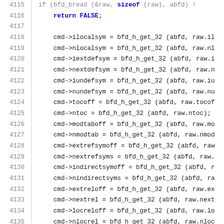Source code listing, lines 4115-4136, showing C code with bfd_h_get_32 calls and return FALSE statement